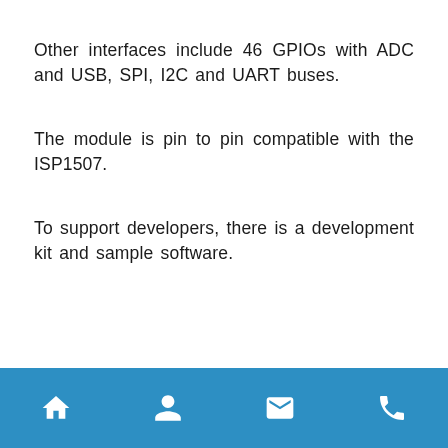Other interfaces include 46 GPIOs with ADC and USB, SPI, I2C and UART buses.
The module is pin to pin compatible with the ISP1507.
To support developers, there is a development kit and sample software.
Navigation footer with home, person, email, and phone icons